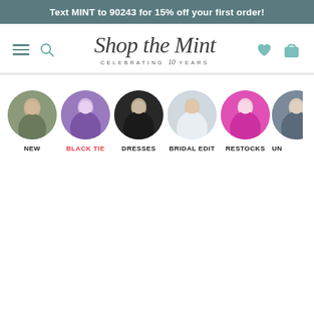Text MINT to 90243 for 15% off your first order!
[Figure (logo): Shop the Mint script logo with 'CELEBRATING 10 YEARS' tagline below]
[Figure (infographic): Six circular category navigation items with fashion photos: NEW, BLACK TIE, DRESSES, BRIDAL EDIT, RESTOCKS, UN(cut off)]